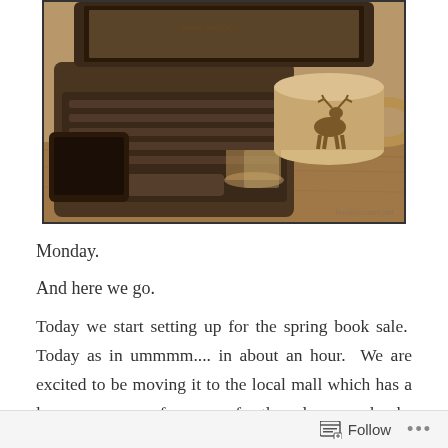[Figure (photo): Sepia-toned photo of a laptop computer and a coffee mug with a moose silhouette on it, placed on a wooden table. Watermark reads 'bookjourney.net' in the bottom right corner.]
Monday.
And here we go.
Today we start setting up for the spring book sale.  Today as in ummmm.... in about an hour.  We are excited to be moving it to the local mall which has a large open space for us use for the sale so our books and our patrons will not be
Follow ...